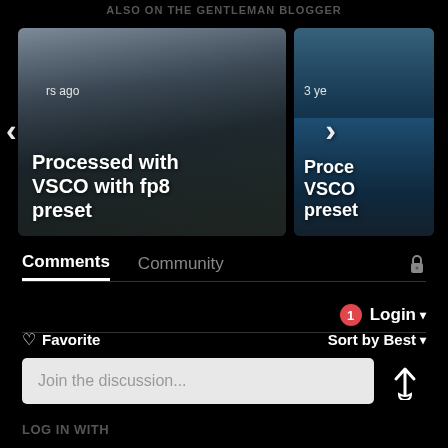ALSO ON THE GENTLEMAN BLOGGER
[Figure (screenshot): Carousel of two photo slides. Left slide shows a city street with tall buildings, labeled 'Processed with VSCO with fp8 preset' with timestamp 'rs ago'. Right slide partially visible shows blue sky, labeled 'Processed with VSCO with preset' with timestamp '3 ye'. Navigation arrows visible.]
Comments   Community   🔒
1   Login ▾
♡ Favorite   Sort by Best ▾
Join the discussion...
LOG IN WITH